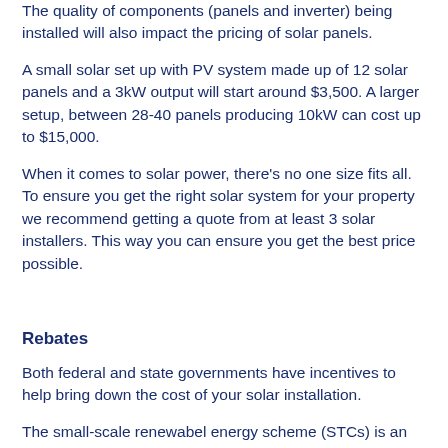The quality of components (panels and inverter) being installed will also impact the pricing of solar panels.
A small solar set up with PV system made up of 12 solar panels and a 3kW output will start around $3,500. A larger setup, between 28-40 panels producing 10kW can cost up to $15,000.
When it comes to solar power, there's no one size fits all. To ensure you get the right solar system for your property we recommend getting a quote from at least 3 solar installers. This way you can ensure you get the best price possible.
Rebates
Both federal and state governments have incentives to help bring down the cost of your solar installation.
The small-scale renewabel energy scheme (STCs) is an Australian government incentive as part of the Renewable Energy Target scheme to reduce the cost associated with